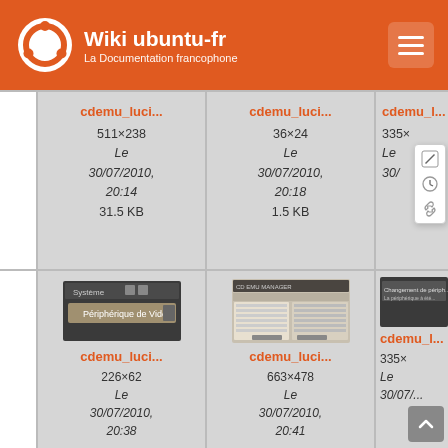Wiki ubuntu-fr La Documentation francophone
[Figure (screenshot): Grid of file thumbnails from Wiki ubuntu-fr. Row 1: cdemu_luci... 511×238, Le 30/07/2010, 20:14, 31.5 KB; cdemu_luci... 36×24, Le 30/07/2010, 20:18, 1.5 KB; cdemu_l... (partially visible, with popup overlay showing edit/history/link icons). Row 2: cdemu_luci... 226×62, Le 30/07/2010, 20:38 with screenshot thumbnail; cdemu_luci... 663×478, Le 30/07/2010, 20:41 with screenshot thumbnail; cdemu_l... 335x... partially visible with screenshot thumbnail.]